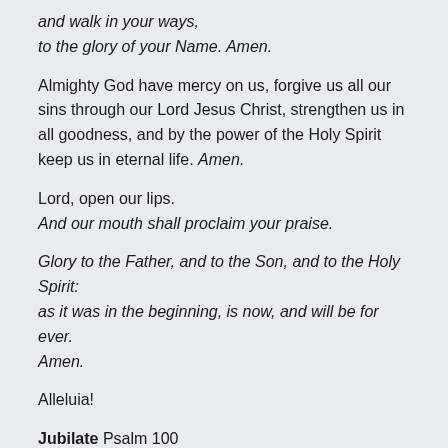and walk in your ways,
to the glory of your Name. Amen.
Almighty God have mercy on us, forgive us all our sins through our Lord Jesus Christ, strengthen us in all goodness, and by the power of the Holy Spirit keep us in eternal life. Amen.
Lord, open our lips.
And our mouth shall proclaim your praise.
Glory to the Father, and to the Son, and to the Holy Spirit: as it was in the beginning, is now, and will be for ever. Amen.
Alleluia!
Jubilate Psalm 100